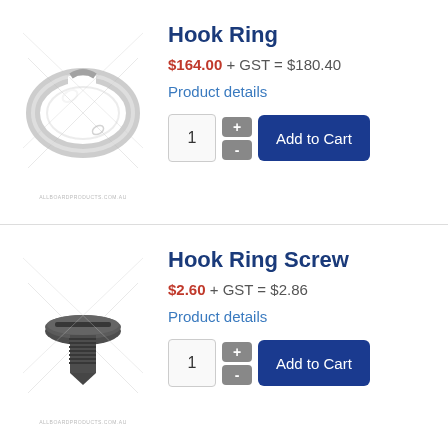[Figure (photo): Chrome hook ring component, circular metallic part with opening, watermarked product photo]
Hook Ring
$164.00 + GST = $180.40
Product details
[Figure (photo): Black flathead screw, hook ring screw component, watermarked product photo]
Hook Ring Screw
$2.60 + GST = $2.86
Product details